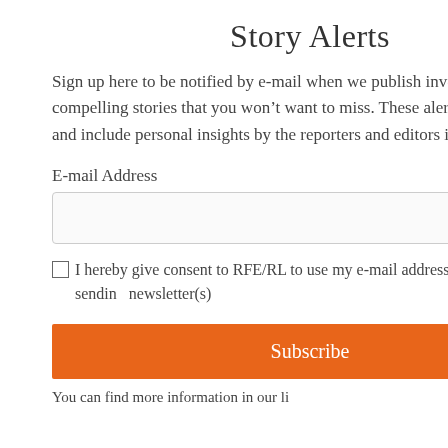Story Alerts
Sign up here to be notified by e-mail when we publish investigations and compelling stories that you won't want to miss. These alerts are infrequent and include personal insights by the reporters and editors involved.
E-mail Address
I hereby give consent to RFE/RL to use my e-mail address for the purpose of sending newsletter(s)
Subscribe
Despite Sanctions, Ukraine Unemployment Post-S Why.